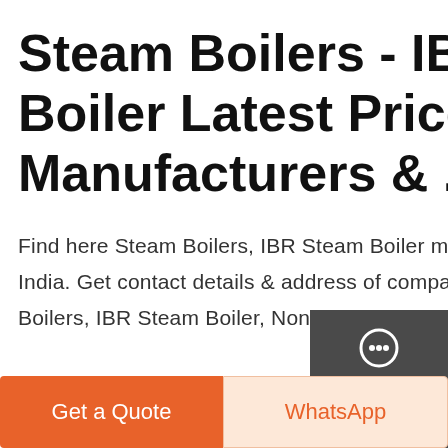Steam Boilers - IBR Steam Boiler Latest Price, Manufacturers & ...
Find here Steam Boilers, IBR Steam Boiler manufacturers, suppliers & exporters in India. Get contact details & address of companies manufacturing and supplying Steam Boilers, IBR Steam Boiler, Non IBR Steam Boilers across India.
[Figure (screenshot): Yellow 'Get A Quote' button]
[Figure (photo): Industrial building interior with steel roof trusses and pipes]
[Figure (screenshot): Dark sidebar panel with Chat, Email, and Contact icons]